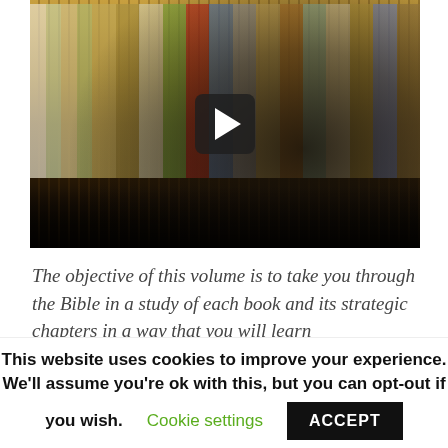[Figure (photo): Video thumbnail showing an elderly man with glasses gesturing with both hands, seated in front of a bookshelf filled with books. A play button overlay is centered on the image.]
The objective of this volume is to take you through the Bible in a study of each book and its strategic chapters in a way that you will learn
This website uses cookies to improve your experience. We'll assume you're ok with this, but you can opt-out if you wish. Cookie settings ACCEPT